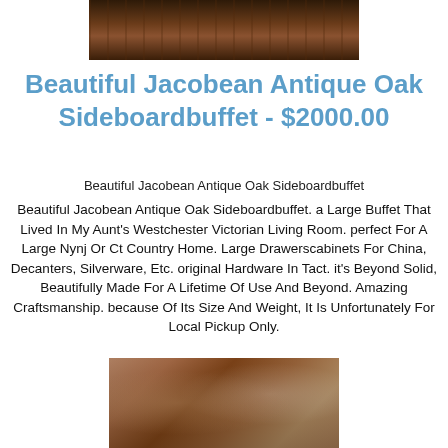[Figure (photo): Top portion of a dark wooden antique sideboard buffet, showing the wooden surface close-up]
Beautiful Jacobean Antique Oak Sideboardbuffet - $2000.00
Beautiful Jacobean Antique Oak Sideboardbuffet
Beautiful Jacobean Antique Oak Sideboardbuffet. a Large Buffet That Lived In My Aunt's Westchester Victorian Living Room. perfect For A Large Nynj Or Ct Country Home. Large Drawerscabinets For China, Decanters, Silverware, Etc. original Hardware In Tact. it's Beyond Solid, Beautifully Made For A Lifetime Of Use And Beyond. Amazing Craftsmanship. because Of Its Size And Weight, It Is Unfortunately For Local Pickup Only.
[Figure (photo): Photo of the antique oak sideboard buffet showing its surface with various items on top, in a room with pink/tan walls]